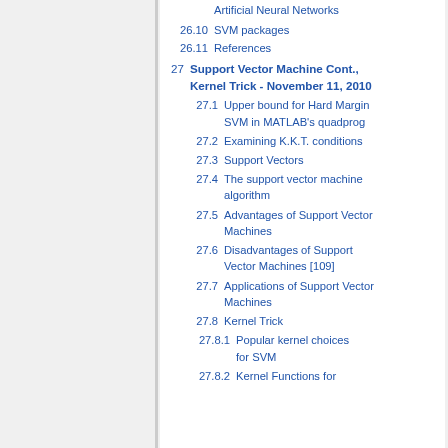Artificial Neural Networks
26.10  SVM packages
26.11  References
27  Support Vector Machine Cont., Kernel Trick - November 11, 2010
27.1  Upper bound for Hard Margin SVM in MATLAB's quadprog
27.2  Examining K.K.T. conditions
27.3  Support Vectors
27.4  The support vector machine algorithm
27.5  Advantages of Support Vector Machines
27.6  Disadvantages of Support Vector Machines [109]
27.7  Applications of Support Vector Machines
27.8  Kernel Trick
27.8.1  Popular kernel choices for SVM
27.8.2  Kernel Functions for